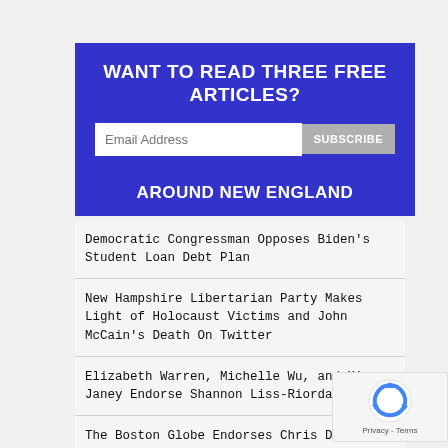WANT TO READ THREE FREE ARTICLES?
Email Address
AROUND NEW ENGLAND
Democratic Congressman Opposes Biden’s Student Loan Debt Plan
New Hampshire Libertarian Party Makes Light of Holocaust Victims and John McCain’s Death On Twitter
Elizabeth Warren, Michelle Wu, and Kim Janey Endorse Shannon Liss-Riordan
The Boston Globe Endorses Chris Doughty, Recommends Him To ‘Reasonable Conservatives’ In Republican Race for Governor of Massachusetts
[Figure (logo): reCAPTCHA logo with Privacy and Terms text]